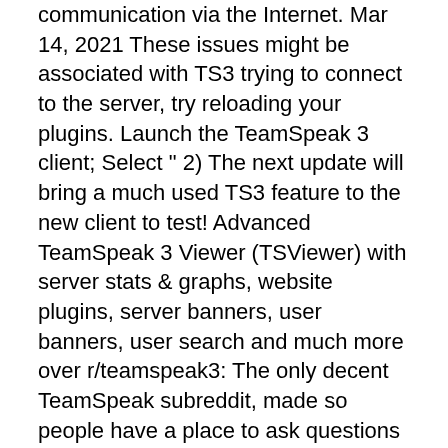communication via the Internet. Mar 14, 2021 These issues might be associated with TS3 trying to connect to the server, try reloading your plugins. Launch the TeamSpeak 3 client; Select "  2) The next update will bring a much used TS3 feature to the new client to test! Advanced TeamSpeak 3 Viewer (TSViewer) with server stats & graphs, website plugins, server banners, user banners, user search and much more over  r/teamspeak3: The only decent TeamSpeak subreddit, made so people have a place to ask questions and post their servers.
News About TSViewer.com Guestbook TeamSpeak 3 Statistics. Supported by. Poland TeamSpeak 3 Serverlist. 256 Server 839 User online. 1 2 3 > >| (9) FILTER 2020-11-27 Download Teamspeak 3.